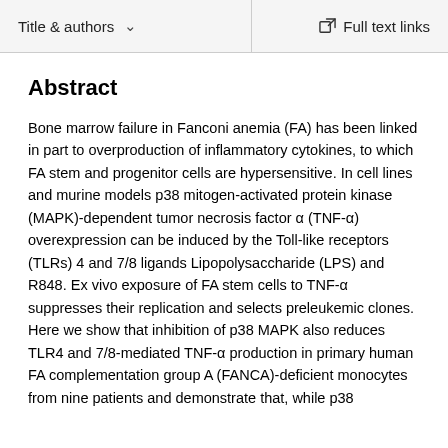Title & authors   Full text links
Abstract
Bone marrow failure in Fanconi anemia (FA) has been linked in part to overproduction of inflammatory cytokines, to which FA stem and progenitor cells are hypersensitive. In cell lines and murine models p38 mitogen-activated protein kinase (MAPK)-dependent tumor necrosis factor α (TNF-α) overexpression can be induced by the Toll-like receptors (TLRs) 4 and 7/8 ligands Lipopolysaccharide (LPS) and R848. Ex vivo exposure of FA stem cells to TNF-α suppresses their replication and selects preleukemic clones. Here we show that inhibition of p38 MAPK also reduces TLR4 and 7/8-mediated TNF-α production in primary human FA complementation group A (FANCA)-deficient monocytes from nine patients and demonstrate that, while p38